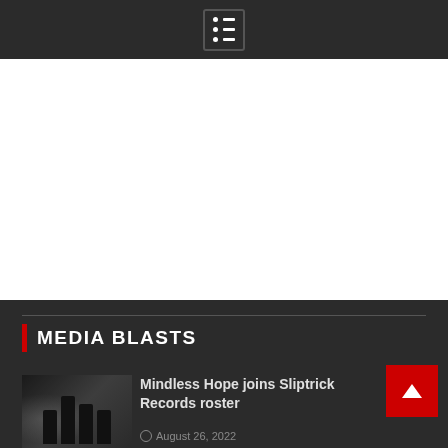Navigation menu icon
[Figure (photo): Small thumbnail image with red and blue tones, appears to show a sports or event scene with a flag element]
MEDIA BLASTS
[Figure (photo): Black and white photo thumbnail of a band (Mindless Hope) - four members in dark clothing]
Mindless Hope joins Sliptrick Records roster
August 26, 2022